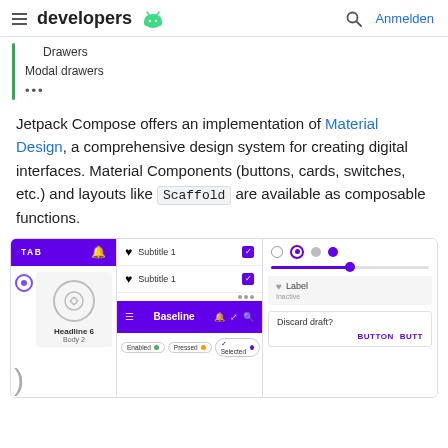developers (android logo) | Search | Anmelden
Drawers
Modal drawers
...
Jetpack Compose offers an implementation of Material Design, a comprehensive design system for creating digital interfaces. Material Components (buttons, cards, switches, etc.) and layouts like Scaffold are available as composable functions.
[Figure (screenshot): Screenshot of Android Material Design UI components including a purple tab bar, list items with checkboxes, a Baseline app bar, radio buttons, a slider, and UI cards showing Label/Inactive and Discard draft dialog.]